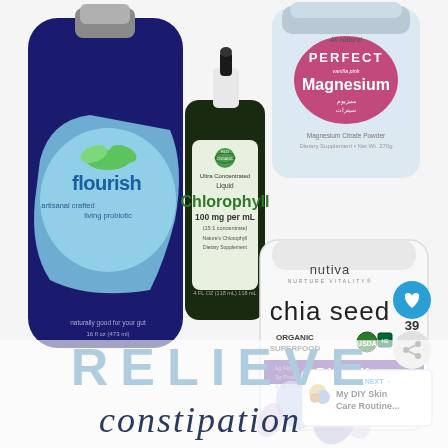[Figure (photo): Collage of health supplement products: Flourish artisanal crafted living probiotic (blue bottle), World Organic Ultra Concentrated Liquid Chlorophyll 100 mg per ml dropper bottle, All Natural Perfect Magnesium powder container, Nutiva Organic Black Chia Seed superfood bag with chia seeds scattered. Social media style image with heart/share buttons and 39 likes count.]
RELIEVE constipation